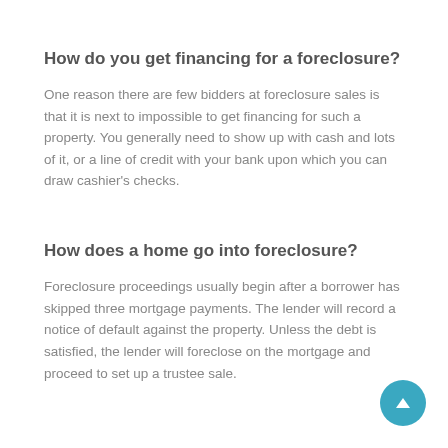How do you get financing for a foreclosure?
One reason there are few bidders at foreclosure sales is that it is next to impossible to get financing for such a property. You generally need to show up with cash and lots of it, or a line of credit with your bank upon which you can draw cashier's checks.
How does a home go into foreclosure?
Foreclosure proceedings usually begin after a borrower has skipped three mortgage payments. The lender will record a notice of default against the property. Unless the debt is satisfied, the lender will foreclose on the mortgage and proceed to set up a trustee sale.